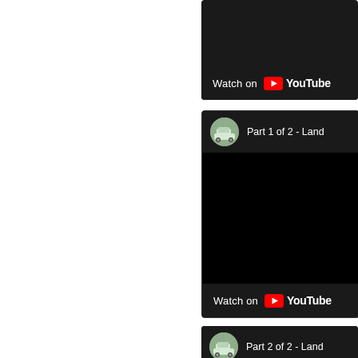[Figure (screenshot): Partial YouTube video embed panel at top showing 'Watch on YouTube' bar with dark background, partially cropped]
[Figure (screenshot): YouTube embedded video panel titled 'Part 1 of 2 - Land' with channel avatar showing a light-green Land Rover, black video area, and 'Watch on YouTube' button at bottom]
[Figure (screenshot): Partial YouTube video embed panel at bottom showing channel avatar with Land Rover and title 'Part 2 of 2 - Land', partially cropped]